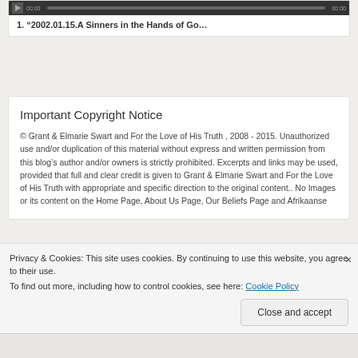[Figure (screenshot): Audio player media bar with play button, time display 00:00, progress bar, and end time 00:00 on dark background]
1. “2002.01.15.A Sinners in the Hands of Go…
Important Copyright Notice
© Grant & Elmarie Swart and For the Love of His Truth , 2008 - 2015. Unauthorized use and/or duplication of this material without express and written permission from this blog’s author and/or owners is strictly prohibited. Excerpts and links may be used, provided that full and clear credit is given to Grant & Elmarie Swart and For the Love of His Truth with appropriate and specific direction to the original content.. No Images or its content on the Home Page, About Us Page, Our Beliefs Page and Afrikaanse
Privacy & Cookies: This site uses cookies. By continuing to use this website, you agree to their use.
To find out more, including how to control cookies, see here: Cookie Policy
Close and accept